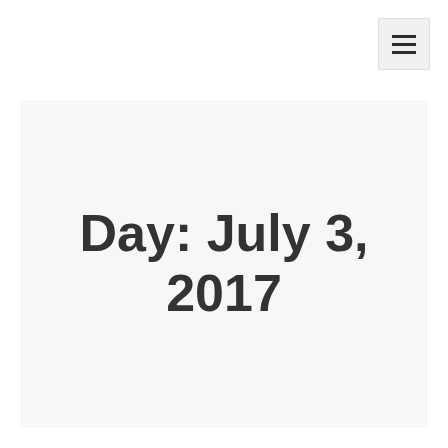[Figure (other): Hamburger menu icon button in top-right corner]
Day: July 3, 2017